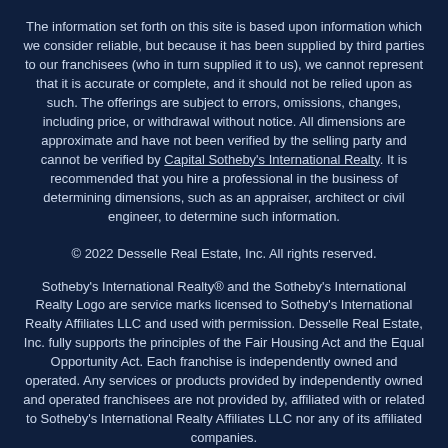The information set forth on this site is based upon information which we consider reliable, but because it has been supplied by third parties to our franchisees (who in turn supplied it to us), we cannot represent that it is accurate or complete, and it should not be relied upon as such. The offerings are subject to errors, omissions, changes, including price, or withdrawal without notice. All dimensions are approximate and have not been verified by the selling party and cannot be verified by Capital Sotheby's International Realty. It is recommended that you hire a professional in the business of determining dimensions, such as an appraiser, architect or civil engineer, to determine such information.
© 2022 Desselle Real Estate, Inc. All rights reserved.
Sotheby's International Realty® and the Sotheby's International Realty Logo are service marks licensed to Sotheby's International Realty Affiliates LLC and used with permission. Desselle Real Estate, Inc. fully supports the principles of the Fair Housing Act and the Equal Opportunity Act. Each franchise is independently owned and operated. Any services or products provided by independently owned and operated franchisees are not provided by, affiliated with or related to Sotheby's International Realty Affiliates LLC nor any of its affiliated companies.